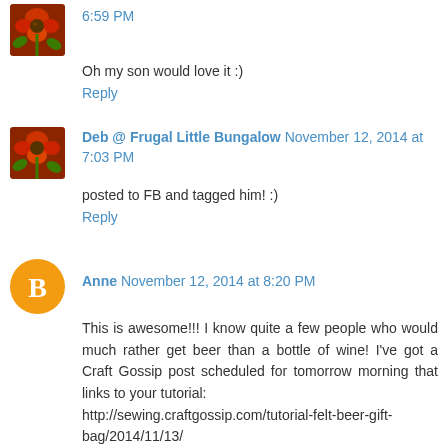6:59 PM
Oh my son would love it :)
Reply
Deb @ Frugal Little Bungalow November 12, 2014 at 7:03 PM
posted to FB and tagged him! :)
Reply
Anne November 12, 2014 at 8:20 PM
This is awesome!!! I know quite a few people who would much rather get beer than a bottle of wine! I've got a Craft Gossip post scheduled for tomorrow morning that links to your tutorial:
http://sewing.craftgossip.com/tutorial-felt-beer-gift-bag/2014/11/13/
--Anne
Reply